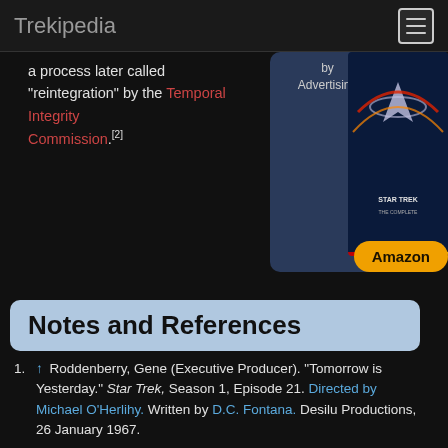Trekipedia
a process later called "reintegration" by the Temporal Integrity Commission.[2]
[Figure (other): Advertising sidebar with Amazon button and Star Trek product image]
Notes and References
1. ↑ Roddenberry, Gene (Executive Producer). "Tomorrow is Yesterday." Star Trek, Season 1, Episode 21. Directed by Michael O'Herlihy. Written by D.C. Fontana. Desilu Productions, 26 January 1967.
2. ↑ Berman, Rick & Braga, Brannon (Executive Producers). "Relativity." Star Trek: Voyager, Season 5, Episode 23. Directed by Allan Eastman. Story by Nick